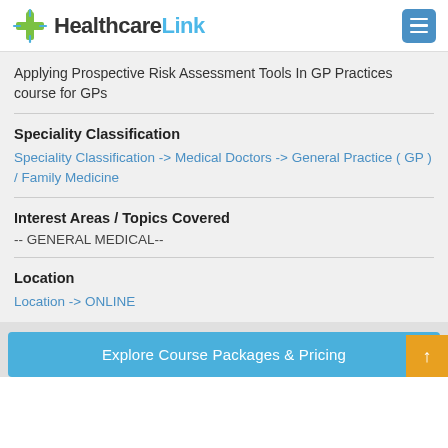HealthcareLink
Applying Prospective Risk Assessment Tools In GP Practices course for GPs
Speciality Classification
Speciality Classification -> Medical Doctors -> General Practice ( GP ) / Family Medicine
Interest Areas / Topics Covered
-- GENERAL MEDICAL--
Location
Location -> ONLINE
Explore Course Packages & Pricing